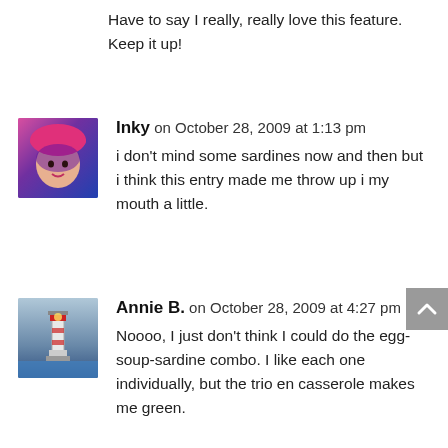Have to say I really, really love this feature. Keep it up!
Inky on October 28, 2009 at 1:13 pm
i don't mind some sardines now and then but i think this entry made me throw up i my mouth a little.
Annie B. on October 28, 2009 at 4:27 pm
Noooo, I just don't think I could do the egg-soup-sardine combo. I like each one individually, but the trio en casserole makes me green.